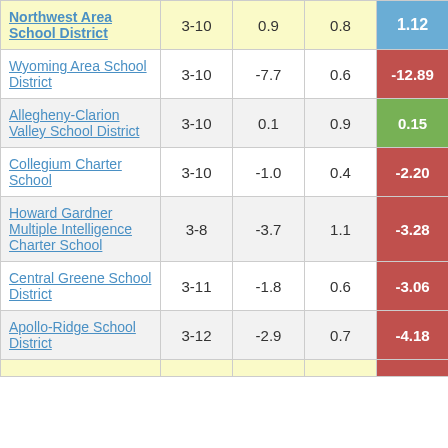| School/District | Grades | Col3 | Col4 | Score |
| --- | --- | --- | --- | --- |
| Northwest Area School District | 3-10 | 0.9 | 0.8 | 1.12 |
| Wyoming Area School District | 3-10 | -7.7 | 0.6 | -12.89 |
| Allegheny-Clarion Valley School District | 3-10 | 0.1 | 0.9 | 0.15 |
| Collegium Charter School | 3-10 | -1.0 | 0.4 | -2.20 |
| Howard Gardner Multiple Intelligence Charter School | 3-8 | -3.7 | 1.1 | -3.28 |
| Central Greene School District | 3-11 | -1.8 | 0.6 | -3.06 |
| Apollo-Ridge School District | 3-12 | -2.9 | 0.7 | -4.18 |